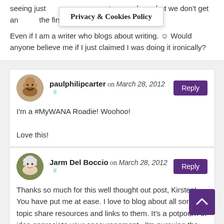seeing just [text cut off] somewhere, but we don't get an [text cut off] the first place!
Even if I am a writer who blogs about writing. ☺ Would anyone believe me if I just claimed I was doing it ironically?
Privacy & Cookies Policy
paulphilipcarter on March 28, 2012 # Reply
I'm a #MyWANA Roadie! Woohoo!

Love this!
Jarm Del Boccio on March 28, 2012 # Reply
Thanks so much for this well thought out post, Kirsten! You have put me at ease. I love to blog about all sorts of topic share resources and links to them. It's a potpourri of idea appreciate your encouragement...I'm pursuing the idea f for my A to Z blogging challenge in April!